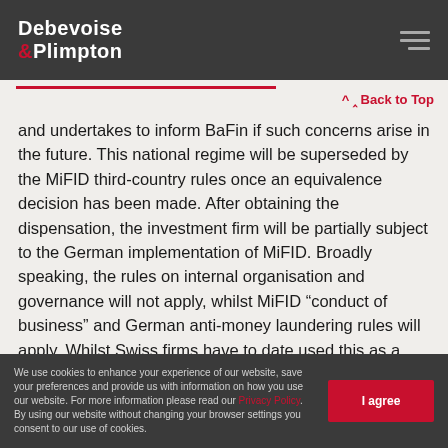Debevoise & Plimpton
and undertakes to inform BaFin if such concerns arise in the future. This national regime will be superseded by the MiFID third-country rules once an equivalence decision has been made. After obtaining the dispensation, the investment firm will be partially subject to the German implementation of MiFID. Broadly speaking, the rules on internal organisation and governance will not apply, whilst MiFID “conduct of business” and German anti-money laundering rules will apply. Whilst Swiss firms have to date used this as a means to access German institutional investors, it is a new process for UK firms.
We use cookies to enhance your experience of our website, save your preferences and provide us with information on how you use our website. For more information please read our Privacy Policy. By using our website without changing your browser settings you consent to our use of cookies.